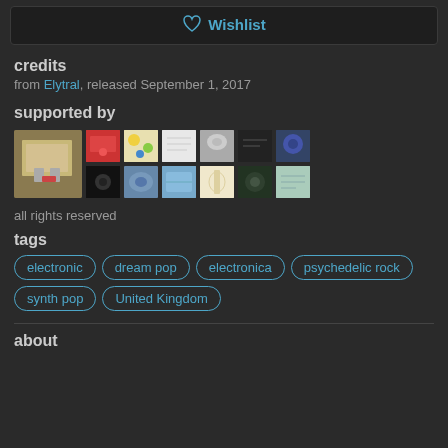Wishlist
credits
from Elytral, released September 1, 2017
supported by
[Figure (photo): Grid of album cover thumbnails showing supporter albums]
all rights reserved
tags
electronic
dream pop
electronica
psychedelic rock
synth pop
United Kingdom
about